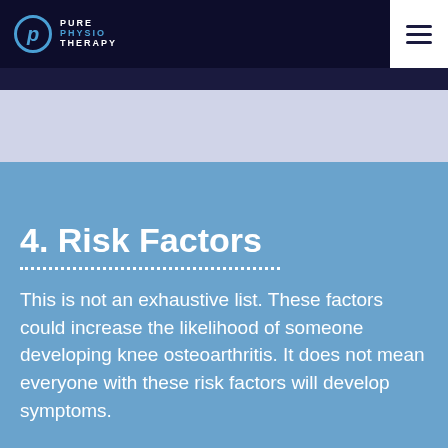Pure Physio Therapy
4. Risk Factors
This is not an exhaustive list. These factors could increase the likelihood of someone developing knee osteoarthritis. It does not mean everyone with these risk factors will develop symptoms.